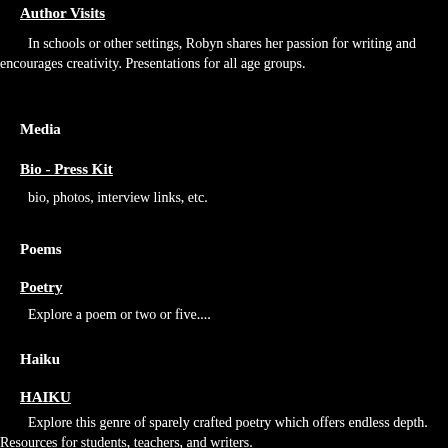Author Visits
In schools or other settings, Robyn shares her passion for writing and encourages creativity. Presentations for all age groups.
Media
Bio - Press Kit
bio, photos, interview links, etc.
Poems
Poetry
Explore a poem or two or five....
Haiku
HAIKU
Explore this genre of sparely crafted poetry which offers endless depth. Resources for students, teachers, and writers.
Magazines